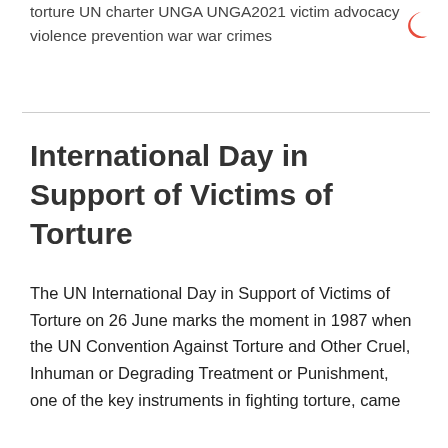torture UN charter UNGA UNGA2021 victim advocacy violence prevention war war crimes
International Day in Support of Victims of Torture
The UN International Day in Support of Victims of Torture on 26 June marks the moment in 1987 when the UN Convention Against Torture and Other Cruel, Inhuman or Degrading Treatment or Punishment, one of the key instruments in fighting torture, came into effect. To be the Convention had to be...